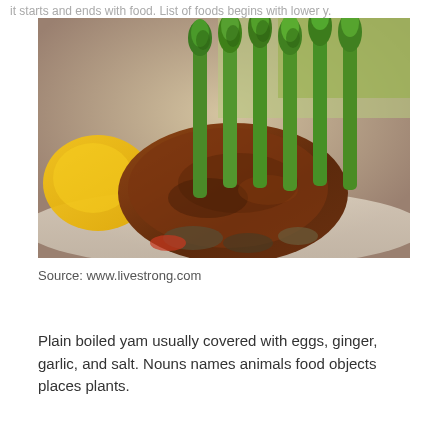it starts and ends with food. List of foods begins with lower y.
[Figure (photo): Close-up photo of a grilled steak topped with fresh asparagus spears, with yellow mashed potatoes and sautéed mushrooms and vegetables on the side, plated on a white dish.]
Source: www.livestrong.com
Plain boiled yam usually covered with eggs, ginger, garlic, and salt. Nouns names animals food objects places plants.